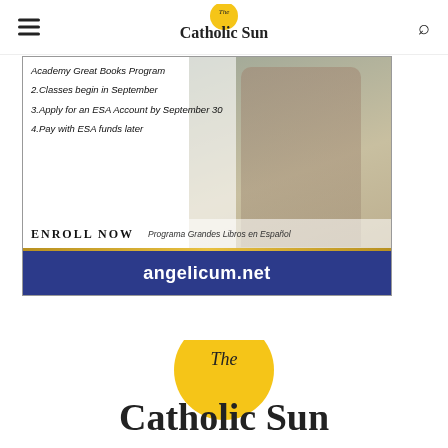The Catholic Sun
[Figure (infographic): Angelicum Academy advertisement banner showing a student studying, with steps: 1. Academy Great Books Program, 2. Classes begin in September, 3. Apply for an ESA Account by September 30, 4. Pay with ESA funds later. Enroll Now. Programa Grandes Libros en Español. angelicum.net]
[Figure (logo): The Catholic Sun logo at the bottom of the page, partially visible]